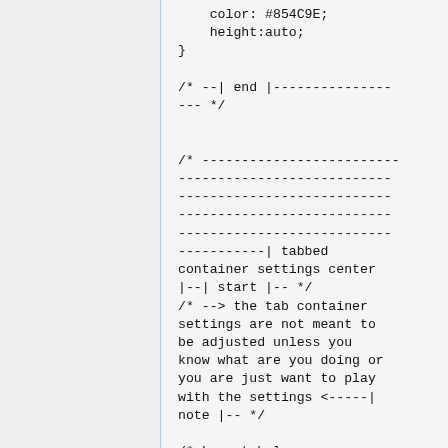color: #854C9E;
    height:auto;
}

/* --| end |---------------
--- */


/* -------------------------
---------------------------
---------------------------
---------------------------
---------------------------
-----------| tabbed container settings center |--| start |-- */
/* --> the tab container settings are not meant to be adjusted unless you know what are you doing or you are just want to play with the settings <-----| note |-- */

/* Layout helpers --------